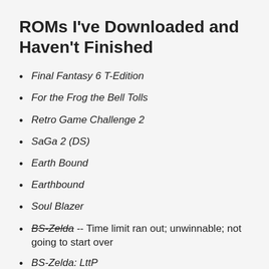ROMs I've Downloaded and Haven't Finished
Final Fantasy 6 T-Edition
For the Frog the Bell Tolls
Retro Game Challenge 2
SaGa 2 (DS)
Earth Bound
Earthbound
Soul Blazer
BS-Zelda -- Time limit ran out; unwinnable; not going to start over
BS-Zelda: LttP
Sonic 2 Delta